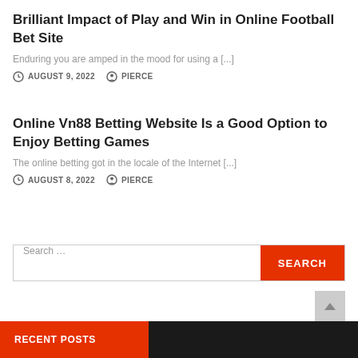Brilliant Impact of Play and Win in Online Football Bet Site
Enduring you are amped in the mood for using a [...]
AUGUST 9, 2022   PIERCE
Online Vn88 Betting Website Is a Good Option to Enjoy Betting Games
The online betting got in the locale of the Internet [...]
AUGUST 8, 2022   PIERCE